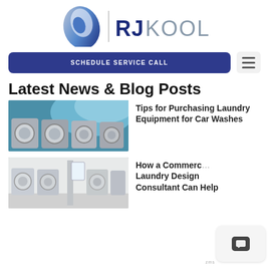[Figure (logo): RJ Kool logo with blue swirl icon and text 'RJ KOOL' in navy and gray]
[Figure (screenshot): Navigation bar with 'SCHEDULE SERVICE CALL' blue button and hamburger menu icon]
Latest News & Blog Posts
[Figure (photo): Photo of commercial laundry/washing machines in a car wash facility]
Tips for Purchasing Laundry Equipment for Car Washes
[Figure (photo): Photo of commercial laundry machines in a laundromat or facility]
How a Commercial Laundry Design Consultant Can Help